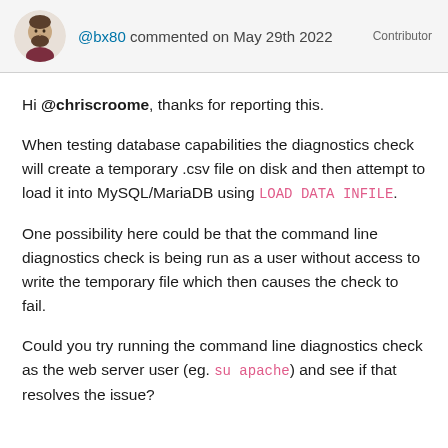@bx80 commented on May 29th 2022  Contributor
Hi @chriscroome, thanks for reporting this.
When testing database capabilities the diagnostics check will create a temporary .csv file on disk and then attempt to load it into MySQL/MariaDB using LOAD DATA INFILE.
One possibility here could be that the command line diagnostics check is being run as a user without access to write the temporary file which then causes the check to fail.
Could you try running the command line diagnostics check as the web server user (eg. su apache) and see if that resolves the issue?